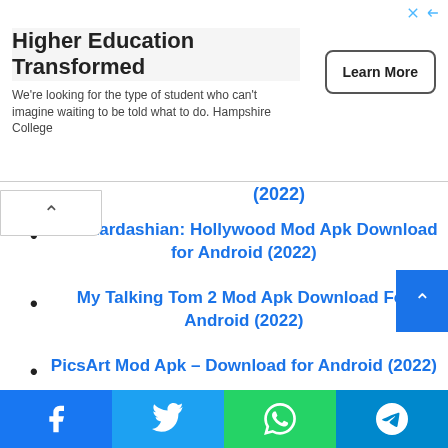[Figure (screenshot): Advertisement banner for Hampshire College: 'Higher Education Transformed' with Learn More button]
(2022)
Kim Kardashian: Hollywood Mod Apk Download for Android (2022)
My Talking Tom 2 Mod Apk Download For Android (2022)
PicsArt Mod Apk – Download for Android (2022)
[Figure (screenshot): Social share bar with Facebook, Twitter, WhatsApp, and Telegram buttons]